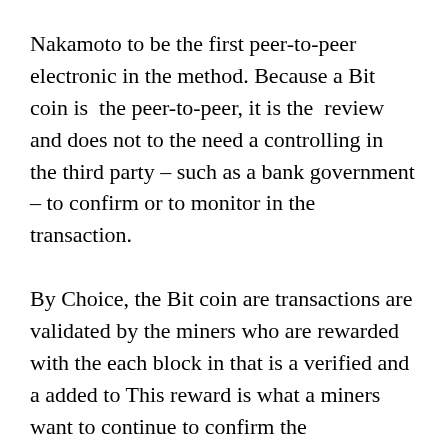Nakamoto to be the first peer-to-peer electronic in the method. Because a Bit coin is the peer-to-peer, it is the review and does not to the need a controlling in the third party – such as a bank government – to confirm or to monitor in the transaction.
By Choice, the Bit coin are transactions are validated by the miners who are rewarded with the each block in that is a verified and a added to This reward is what a miners want to continue to confirm the transactions and to keep the Bit coin network are the growing.